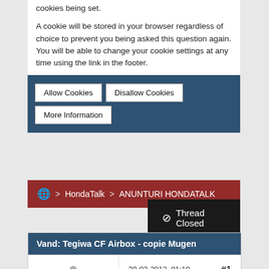cookies being set.
A cookie will be stored in your browser regardless of choice to prevent you being asked this question again. You will be able to change your cookie settings at any time using the link in the footer.
Allow Cookies
Disallow Cookies
More Information
> HondaTalk > ANUNTURI HONDATALK
🚫 Thread Closed
Vand: Tegiwa CF Airbox - copie Mugen
30-03-2012, 01:10   #1
yulasinio